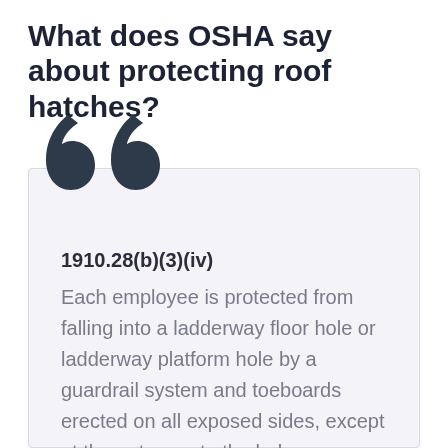What does OSHA say about protecting roof hatches?
1910.28(b)(3)(iv)
Each employee is protected from falling into a ladderway floor hole or ladderway platform hole by a guardrail system and toeboards erected on all exposed sides, except at the entrance to the hole,